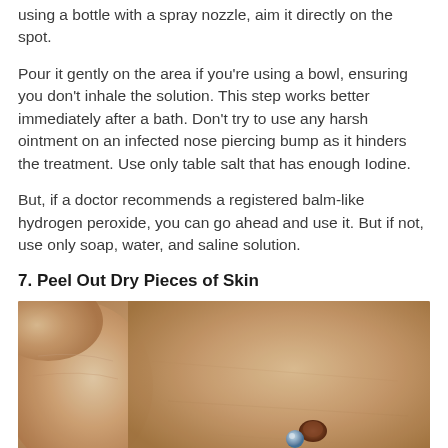using a bottle with a spray nozzle, aim it directly on the spot.
Pour it gently on the area if you're using a bowl, ensuring you don't inhale the solution. This step works better immediately after a bath. Don't try to use any harsh ointment on an infected nose piercing bump as it hinders the treatment. Use only table salt that has enough Iodine.
But, if a doctor recommends a registered balm-like hydrogen peroxide, you can go ahead and use it. But if not, use only soap, water, and saline solution.
7. Peel Out Dry Pieces of Skin
[Figure (photo): Close-up photo of fingers handling a nose piercing with a visible bump or crust around the jewelry on skin]